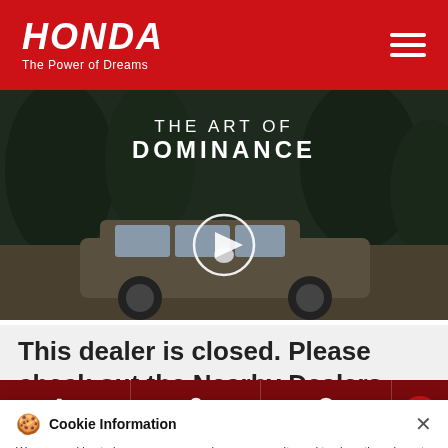[Figure (logo): Honda logo with 'The Power of Dreams' tagline on red header background]
[Figure (screenshot): Video thumbnail showing Honda CR-V with text 'THE ART OF DOMINANCE' and play button overlay]
This dealer is closed. Please check out the Nearby Dealers below
Cookie Information
We use cookies to improve your experience on our site and to show the relevant content.
bit.ly/_HondaOffers
I ACCEPT
CALL  DIRECTIONS  REQUEST A TEST DRIVE